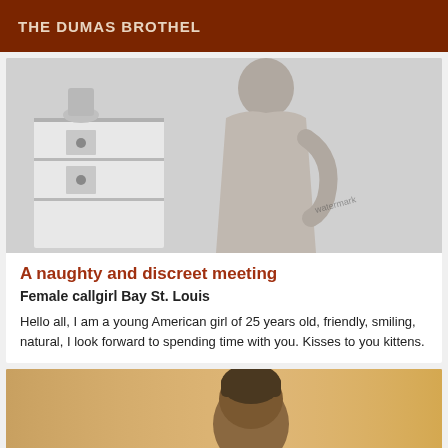THE DUMAS BROTHEL
[Figure (photo): Black and white photo of a woman standing near a dresser]
A naughty and discreet meeting
Female callgirl Bay St. Louis
Hello all, I am a young American girl of 25 years old, friendly, smiling, natural, I look forward to spending time with you. Kisses to you kittens.
[Figure (photo): Warm-toned photo showing a man's head/shoulders from behind]